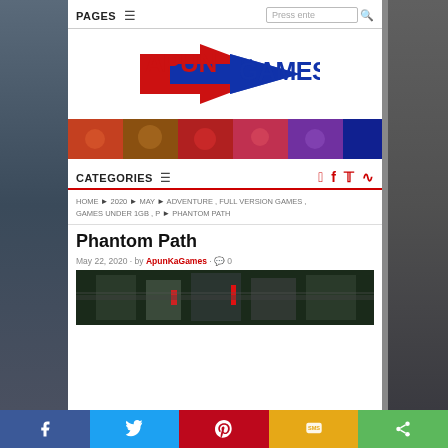PAGES ☰   [search box] 🔍
[Figure (logo): ApunKaGames logo with red arrow and blue arrow graphic]
[Figure (photo): Horizontal banner strip showing various game screenshots]
CATEGORIES ☰
HOME ▶ 2020 ▶ MAY ▶ ADVENTURE , FULL VERSION GAMES , GAMES UNDER 1GB , P ▶ PHANTOM PATH
Phantom Path
May 22, 2020 · by ApunKaGames · 🗨 0
[Figure (screenshot): Top-down game screenshot of Phantom Path showing buildings and red elements]
Facebook | Twitter | Pinterest | SMS | Share